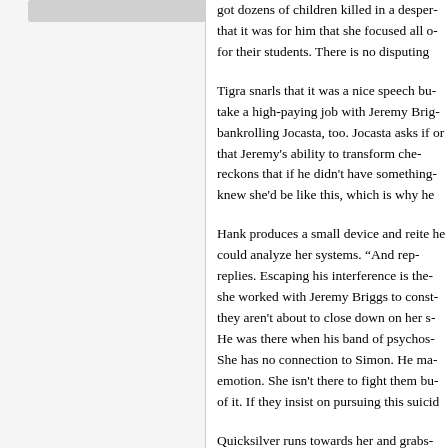[Figure (other): Left panel showing a gray background with a rounded rectangle bar at the top, likely a UI or comic panel sidebar]
got dozens of children killed in a desper... that it was for him that she focused all o... for their students. There is no disputing...
Tigra snarls that it was a nice speech bu... take a high-paying job with Jeremy Brig... bankrolling Jocasta, too. Jocasta asks if... or that Jeremy's ability to transform che... reckons that if he didn't have something... knew she'd be like this, which is why he...
Hank produces a small device and reite... he could analyze her systems. "And rep... replies. Escaping his interference is the... she worked with Jeremy Briggs to const... they aren't about to close down on her s... He was there when his band of psychos... She has no connection to Simon. He ma... emotion. She isn't there to fight them bu... of it. If they insist on pursuing this suicid...
Quicksilver runs towards her and grabs... body. He tells her that if she insists on...